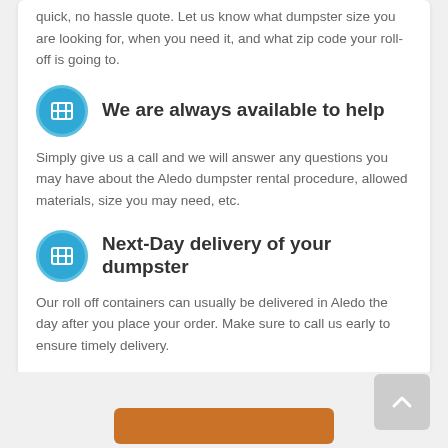quick, no hassle quote. Let us know what dumpster size you are looking for, when you need it, and what zip code your roll-off is going to.
We are always available to help
Simply give us a call and we will answer any questions you may have about the Aledo dumpster rental procedure, allowed materials, size you may need, etc.
Next-Day delivery of your dumpster
Our roll off containers can usually be delivered in Aledo the day after you place your order. Make sure to call us early to ensure timely delivery.